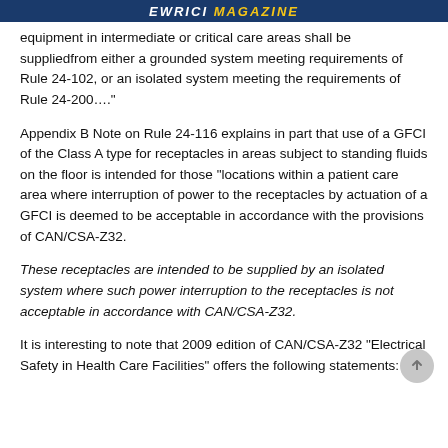EWRICI MAGAZINE
equipment in intermediate or critical care areas shall be suppliedfrom either a grounded system meeting requirements of Rule 24-102, or an isolated system meeting the requirements of Rule 24-200…."
Appendix B Note on Rule 24-116 explains in part that use of a GFCI of the Class A type for receptacles in areas subject to standing fluids on the floor is intended for those “locations within a patient care area where interruption of power to the receptacles by actuation of a GFCI is deemed to be acceptable in accordance with the provisions of CAN/CSA-Z32.
These receptacles are intended to be supplied by an isolated system where such power interruption to the receptacles is not acceptable in accordance with CAN/CSA-Z32.
It is interesting to note that 2009 edition of CAN/CSA-Z32 “Electrical Safety in Health Care Facilities” offers the following statements: